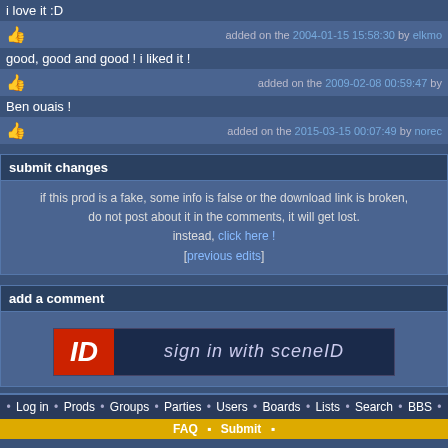i love it :D
added on the 2004-01-15 15:58:30 by elkmo
good, good and good ! i liked it !
added on the 2009-02-08 00:59:47 by
Ben ouais !
added on the 2015-03-15 00:07:49 by norec
submit changes
if this prod is a fake, some info is false or the download link is broken, do not post about it in the comments, it will get lost. instead, click here ! [previous edits]
add a comment
[Figure (illustration): Sign in with SceneID button - red ID logo on left, dark background with 'sign in with sceneID' text]
• Log in • Prods • Groups • Parties • Users • Boards • Lists • Search • BBS •
FAQ • Submit •
switch to mobile version
pouët.net 2.0 © 2000-2022 mandarine - hosted on scene.org - follow us on twitter and facebook - join us on discord and irc
send comments and bug reports to webmaster@pouet.net or github
page created in 0.008392 seconds.